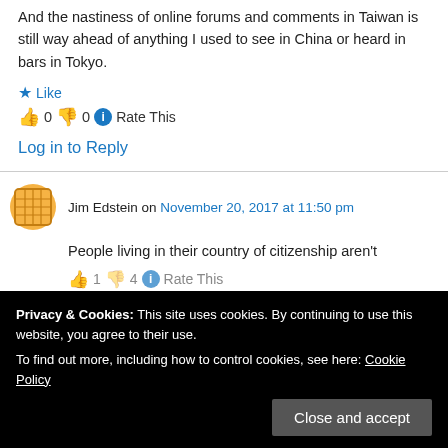And the nastiness of online forums and comments in Taiwan is still way ahead of anything I used to see in China or heard in bars in Tokyo.
Like
0  0  Rate This
Log in to Reply
Jim Edstein on November 20, 2017 at 11:50 pm
People living in their country of citizenship aren't
1  4  Rate This
Privacy & Cookies: This site uses cookies. By continuing to use this website, you agree to their use.
To find out more, including how to control cookies, see here: Cookie Policy
Close and accept